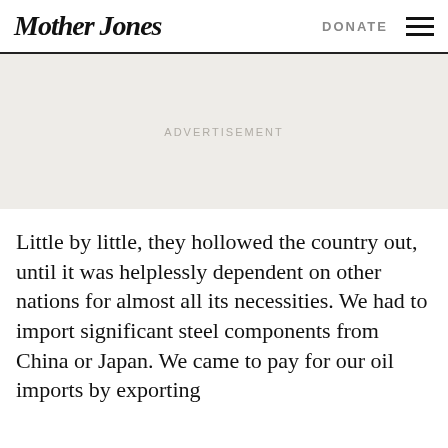Mother Jones | DONATE
ADVERTISEMENT
Little by little, they hollowed the country out, until it was helplessly dependent on other nations for almost all its necessities. We had to import significant steel components from China or Japan. We came to pay for our oil imports by exporting food (to oversimplify). Our creditors became the external masters of our fate, to be appeased at all costs.